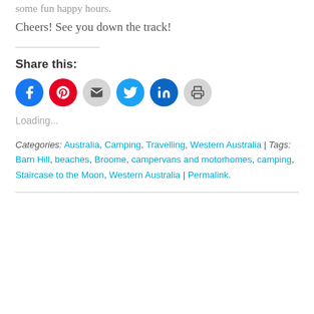some fun happy hours.
Cheers! See you down the track!
Share this:
[Figure (infographic): Row of six circular social share buttons: Facebook (blue), Pinterest (red), Email (grey), Twitter (cyan), LinkedIn (dark blue), Print (grey)]
Loading...
Categories: Australia, Camping, Travelling, Western Australia | Tags: Barn Hill, beaches, Broome, campervans and motorhomes, camping, Staircase to the Moon, Western Australia | Permalink.